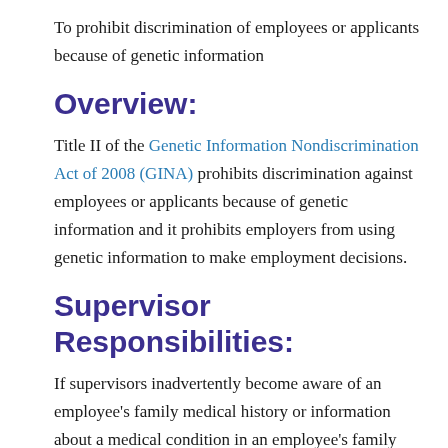To prohibit discrimination of employees or applicants because of genetic information
Overview:
Title II of the Genetic Information Nondiscrimination Act of 2008 (GINA) prohibits discrimination against employees or applicants because of genetic information and it prohibits employers from using genetic information to make employment decisions.
Supervisor Responsibilities:
If supervisors inadvertently become aware of an employee's family medical history or information about a medical condition in an employee's family through the process of FMLA or other medical leave, this information